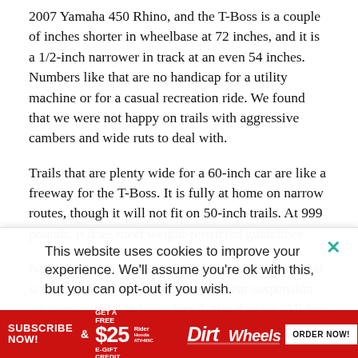2007 Yamaha 450 Rhino, and the T-Boss is a couple of inches shorter in wheelbase at 72 inches, and it is a 1/2-inch narrower in track at an even 54 inches. Numbers like that are no handicap for a utility machine or for a casual recreation ride. We found that we were not happy on trails with aggressive cambers and wide ruts to deal with.
Trails that are plenty wide for a 60-inch car are like a freeway for the T-Boss. It is fully at home on narrow routes, though it will not fit on 50-inch trails. At 999 pounds, it does meet weight-restricted guidelines.
Narrow cars rarely have big travel numbers, and that is the case here. Both the front and rear suspension are conventional independent A-arm designs. All four shocks are robust in
This website uses cookies to improve your experience. We'll assume you're ok with this, but you can opt-out if you wish.
[Figure (infographic): Red advertisement bar at bottom: SUBSCRIBE NOW! & GET A FREE $25 E-GIFT CREDIT with ATV magazine logo, Dirt Wheels logo, ORDER NOW! button]